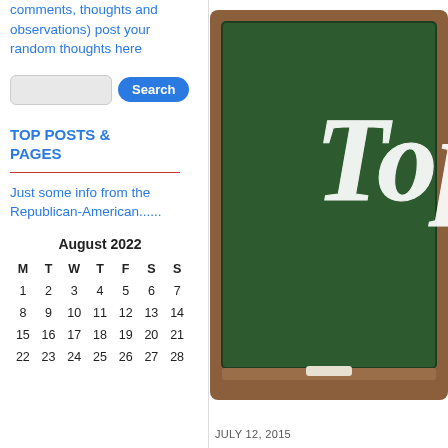comments, thoughts and observations) post your random thoughts here
[Figure (other): Search input box and blue Search button]
TOP POSTS & PAGES
Just some info from the Republican-American......
| M | T | W | T | F | S | S |
| --- | --- | --- | --- | --- | --- | --- |
| 1 | 2 | 3 | 4 | 5 | 6 | 7 |
| 8 | 9 | 10 | 11 | 12 | 13 | 14 |
| 15 | 16 | 17 | 18 | 19 | 20 | 21 |
| 22 | 23 | 24 | 25 | 26 | 27 | 28 |
[Figure (illustration): Chalkboard illustration with cursive chalk text reading 'Top' in white on green board with brown wooden frame]
July 12, 2015